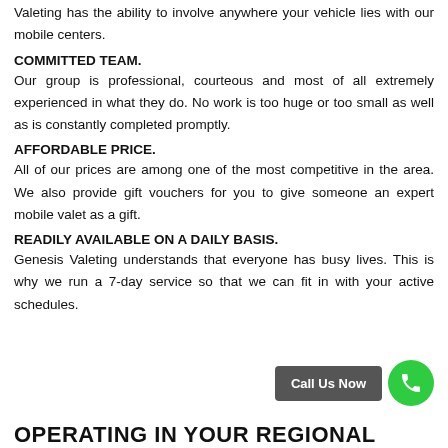Valeting has the ability to involve anywhere your vehicle lies with our mobile centers.
COMMITTED TEAM.
Our group is professional, courteous and most of all extremely experienced in what they do. No work is too huge or too small as well as is constantly completed promptly.
AFFORDABLE PRICE.
All of our prices are among one of the most competitive in the area. We also provide gift vouchers for you to give someone an expert mobile valet as a gift.
READILY AVAILABLE ON A DAILY BASIS.
Genesis Valeting understands that everyone has busy lives. This is why we run a 7-day service so that we can fit in with your active schedules.
OPERATING IN YOUR REGIONAL